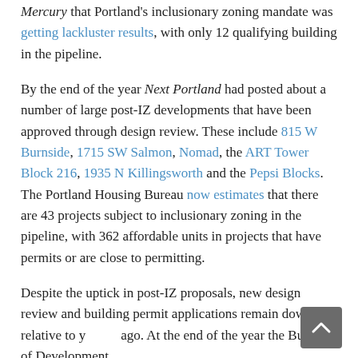Mercury that Portland's inclusionary zoning mandate was getting lackluster results, with only 12 qualifying building in the pipeline.
By the end of the year Next Portland had posted about a number of large post-IZ developments that have been approved through design review. These include 815 W Burnside, 1715 SW Salmon, Nomad, the ART Tower Block 216, 1935 N Killingsworth and the Pepsi Blocks. The Portland Housing Bureau now estimates that there are 43 projects subject to inclusionary zoning in the pipeline, with 362 affordable units in projects that have permits or are close to permitting.
Despite the uptick in post-IZ proposals, new design review and building permit applications remain down relative to years ago. At the end of the year the Bureau of Development...